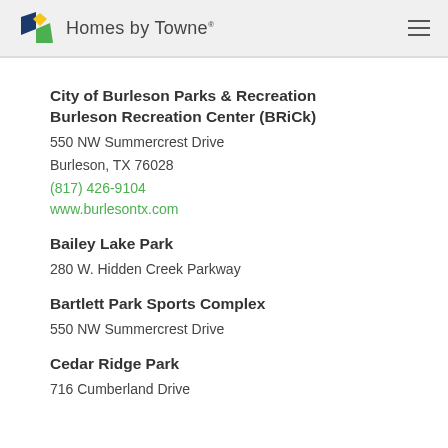Homes by Towne
City of Burleson Parks & Recreation
Burleson Recreation Center (BRiCk)
550 NW Summercrest Drive
Burleson, TX 76028
(817) 426-9104
www.burlesontx.com
Bailey Lake Park
280 W. Hidden Creek Parkway
Bartlett Park Sports Complex
550 NW Summercrest Drive
Cedar Ridge Park
716 Cumberland Drive